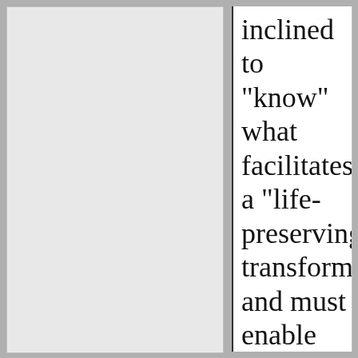inclined to "know" what facilitates a "life-preserving" transformation and must enable